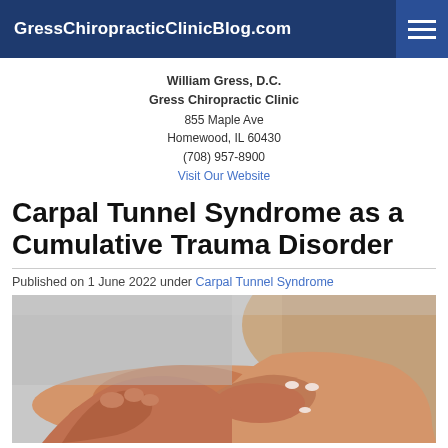GressChiropracticClinicBlog.com
William Gress, D.C.
Gress Chiropractic Clinic
855 Maple Ave
Homewood, IL 60430
(708) 957-8900
Visit Our Website
Carpal Tunnel Syndrome as a Cumulative Trauma Disorder
Published on 1 June 2022 under Carpal Tunnel Syndrome
[Figure (photo): Close-up photo of a person holding their wrist with both hands, suggesting wrist pain related to carpal tunnel syndrome. The person is wearing a beige top and has light skin with manicured nails.]